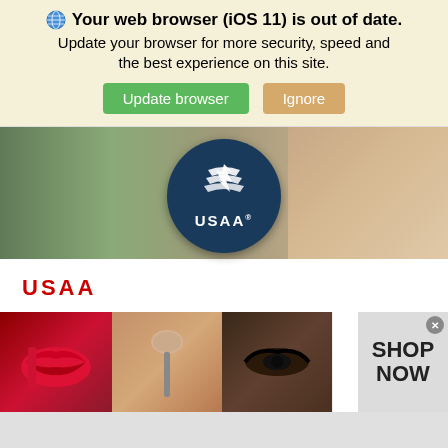Your web browser (iOS 11) is out of date. Update your browser for more security, speed and the best experience on this site.
[Figure (screenshot): USAA hero banner with USAA circular logo on dark blue background with outdoor/people imagery]
USAA
USAA proudly serves millions of military members and their families with competitive rates on insurance, banking and investment services.
210-531-8722
[Figure (photo): Ulta Beauty advertisement banner showing makeup imagery and SHOP NOW call to action]